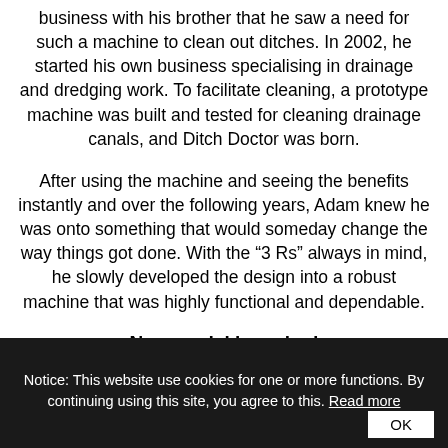business with his brother that he saw a need for such a machine to clean out ditches. In 2002, he started his own business specialising in drainage and dredging work. To facilitate cleaning, a prototype machine was built and tested for cleaning drainage canals, and Ditch Doctor was born.
After using the machine and seeing the benefits instantly and over the following years, Adam knew he was onto something that would someday change the way things got done. With the “3 Rs” always in mind, he slowly developed the design into a robust machine that was highly functional and dependable.
New model launched
Several years later a new model was built. This time
Notice: This website use cookies for one or more functions. By continuing using this site, you agree to this. Read more